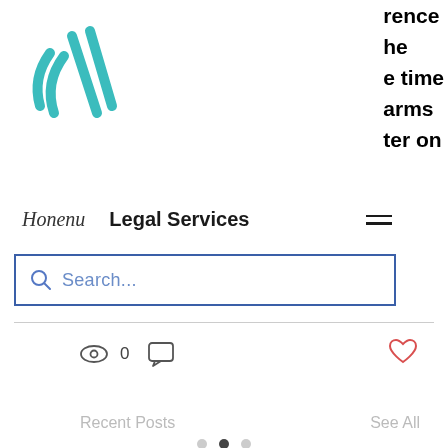rence
he
e time
arms
ter on
[Figure (logo): Teal/turquoise checkmark-like logo with diagonal lines]
Honenu   Legal Services
[Figure (screenshot): Search bar with blue border and magnifier icon, placeholder text Search...]
[Figure (infographic): Icons row: eye icon with 0 count, speech bubble icon, heart/like icon in red]
Recent Posts
See All
[Figure (photo): Partial photo of people, grayscale/muted tones, bottom of page]